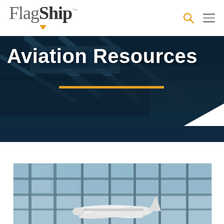FlagShip™
Aviation Resources
[Figure (photo): Airport terminal interior with dark tinted glass ceiling and seating area, dark navy blue overlay with orange decorative horizontal line and white triangle cutout at bottom right]
[Figure (photo): Airport terminal photo showing large glass windows and a white commercial airplane on the tarmac outside, viewed from inside the terminal building]